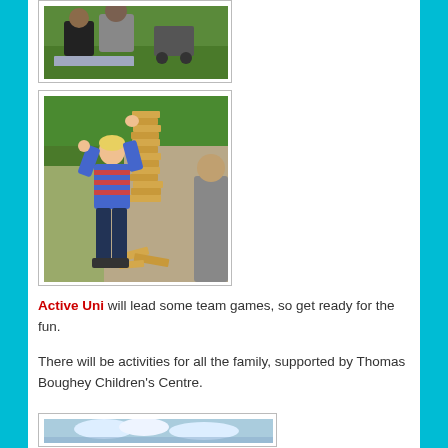[Figure (photo): People sitting on grass at an outdoor event, with a pushchair/buggy visible in the background]
[Figure (photo): Child in striped top playing giant Jenga outdoors in a park setting]
Active Uni will lead some team games, so get ready for the fun.
There will be activities for all the family, supported by Thomas Boughey Children's Centre.
[Figure (photo): Outdoor sky scene, partial photo cut off at bottom of page]